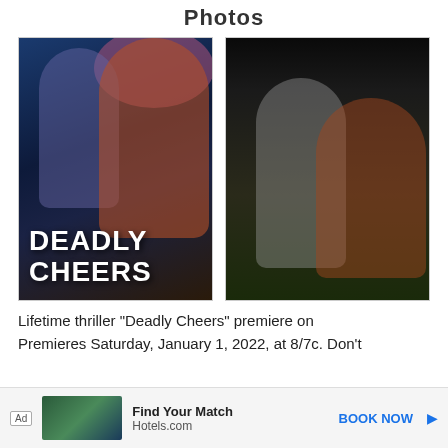Photos
[Figure (photo): Movie poster for 'Deadly Cheers' showing two young women against a blue dramatic background, with bold white text reading DEADLY CHEERS at the bottom]
[Figure (photo): Night scene showing two girls hugging outdoors in dark setting with greenery in background]
Lifetime thriller “Deadly Cheers” premiere on Premieres Saturday, January 1, 2022, at 8/7c. Don’t
[Figure (other): Advertisement banner: Ad | landscape photo | Find Your Match | Hotels.com | BOOK NOW]